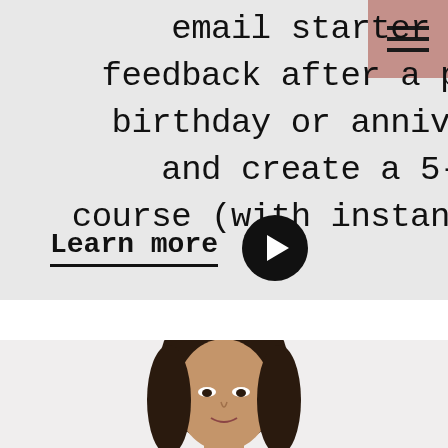email starter pack. Gather feedback after a purchase, send a birthday or anniversary message, and create a 5-day feedback course (with instant gratification).
Learn more
[Figure (photo): Portrait photo of a woman with dark hair, partially visible, cropped at the bottom of the page]